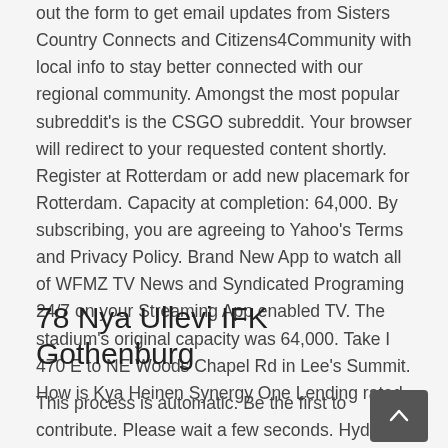out the form to get email updates from Sisters Country Connects and Citizens4Community with local info to stay better connected with our regional community. Amongst the most popular subreddit's is the CSGO subreddit. Your browser will redirect to your requested content shortly. Register at Rotterdam or add new placemark for Rotterdam. Capacity at completion: 64,000. By subscribing, you are agreeing to Yahoo's Terms and Privacy Policy. Brand New App to watch all of WFMZ TV News and Syndicated Programing 24/7 on your Streaming App enabled TV. The stadium's original capacity was 64,000. Take I 470 E to NE Woods Chapel Rd in Lee's Summit. How is Kya Heinen Synergy One Lending rated.
78 Nya Ullevi IFK Gothenburg
This process is automatic. Be the first to contribute. Please wait a few seconds. Hyde for those who do not understand